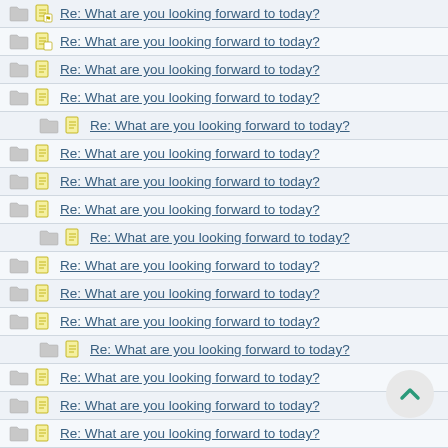Re: What are you looking forward to today?
Re: What are you looking forward to today?
Re: What are you looking forward to today?
Re: What are you looking forward to today?
Re: What are you looking forward to today?
Re: What are you looking forward to today?
Re: What are you looking forward to today?
Re: What are you looking forward to today?
Re: What are you looking forward to today?
Re: What are you looking forward to today?
Re: What are you looking forward to today?
Re: What are you looking forward to today?
Re: What are you looking forward to today?
Re: What are you looking forward to today?
Re: What are you looking forward to today?
Re: What are you looking forward to today?
Re: What are you looking forward to today?